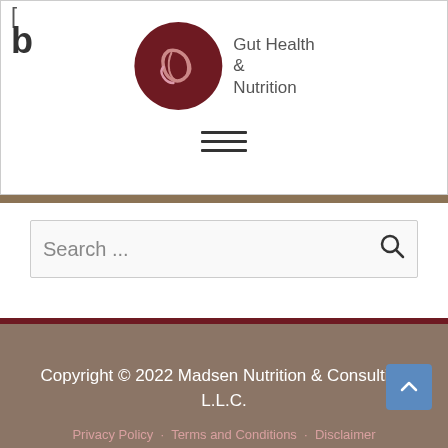[Figure (logo): Gut Health & Nutrition logo with dark red circular icon containing a stomach/gut illustration and text 'Gut Health & Nutrition' beside it]
[Figure (other): Hamburger menu icon (three horizontal lines) indicating navigation menu]
Search ...
Copyright © 2022 Madsen Nutrition & Consulting L.L.C.
Privacy Policy · Terms and Conditions · Disclaimer